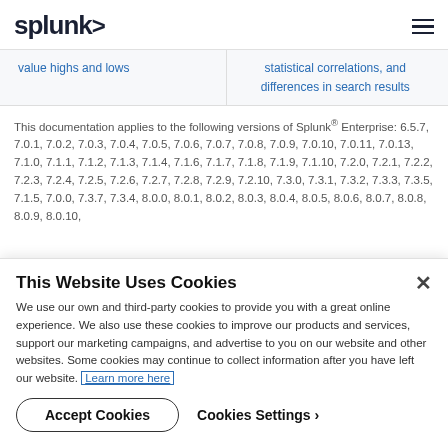splunk> [hamburger menu icon]
value highs and lows
statistical correlations, and differences in search results
This documentation applies to the following versions of Splunk® Enterprise: 6.5.7, 7.0.1, 7.0.2, 7.0.3, 7.0.4, 7.0.5, 7.0.6, 7.0.7, 7.0.8, 7.0.9, 7.0.10, 7.0.11, 7.0.13, 7.1.0, 7.1.1, 7.1.2, 7.1.3, 7.1.4, 7.1.6, 7.1.7, 7.1.8, 7.1.9, 7.1.10, 7.2.0, 7.2.1, 7.2.2, 7.2.3, 7.2.4, 7.2.5, 7.2.6, 7.2.7, 7.2.8, 7.2.9, 7.2.10, 7.3.0, 7.3.1, 7.3.2, 7.3.3, 7.3.5, 7.1.5, 7.0.0, 7.3.7, 7.3.4, 8.0.0, 8.0.1, 8.0.2, 8.0.3, 8.0.4, 8.0.5, 8.0.6, 8.0.7, 8.0.8, 8.0.9, 8.0.10,
This Website Uses Cookies
We use our own and third-party cookies to provide you with a great online experience. We also use these cookies to improve our products and services, support our marketing campaigns, and advertise to you on our website and other websites. Some cookies may continue to collect information after you have left our website. Learn more here
Accept Cookies
Cookies Settings ›